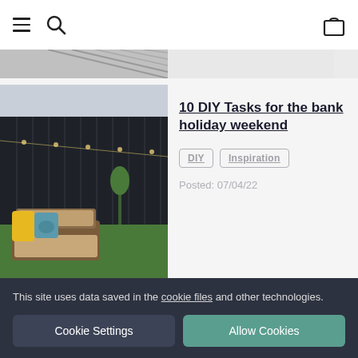Navigation header with menu, search, and bag icons
[Figure (photo): Partial top image strip showing a cropped photo]
[Figure (photo): Outdoor garden area with wicker sofa, yellow and teal cushions, dark wooden fence in background, green grass]
10 DIY Tasks for the bank holiday weekend
DIY
Inspiration
Posted: 07/04/22
[Figure (photo): Indoor room with green walls and decorative items partially visible]
Four Fun Ideas For
This site uses data saved in the cookie files and other technologies.
Cookie Settings
Allow Cookies